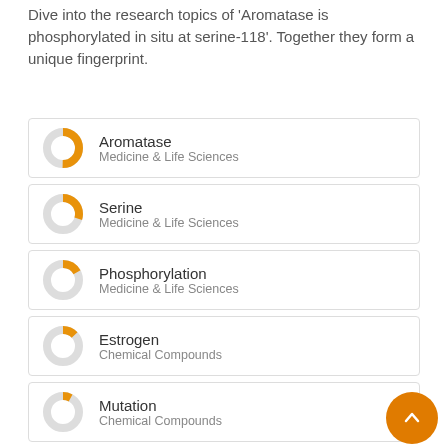Dive into the research topics of 'Aromatase is phosphorylated in situ at serine-118'. Together they form a unique fingerprint.
[Figure (donut-chart): Donut chart icon for Aromatase, approximately 75% filled in orange]
Aromatase
Medicine & Life Sciences
[Figure (donut-chart): Donut chart icon for Serine, approximately 55% filled in orange]
Serine
Medicine & Life Sciences
[Figure (donut-chart): Donut chart icon for Phosphorylation, approximately 40% filled in orange]
Phosphorylation
Medicine & Life Sciences
[Figure (donut-chart): Donut chart icon for Estrogen, approximately 38% filled in orange]
Estrogen
Chemical Compounds
[Figure (donut-chart): Donut chart icon for Mutation, approximately 35% filled in orange]
Mutation
Chemical Compounds
[Figure (donut-chart): Donut chart icon for Estrogens, partially visible]
Estrogens